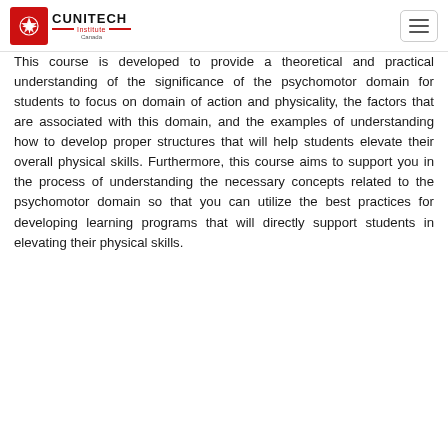CUNITECH Institute Canada
This course is developed to provide a theoretical and practical understanding of the significance of the psychomotor domain for students to focus on domain of action and physicality, the factors that are associated with this domain, and the examples of understanding how to develop proper structures that will help students elevate their overall physical skills. Furthermore, this course aims to support you in the process of understanding the necessary concepts related to the psychomotor domain so that you can utilize the best practices for developing learning programs that will directly support students in elevating their physical skills.